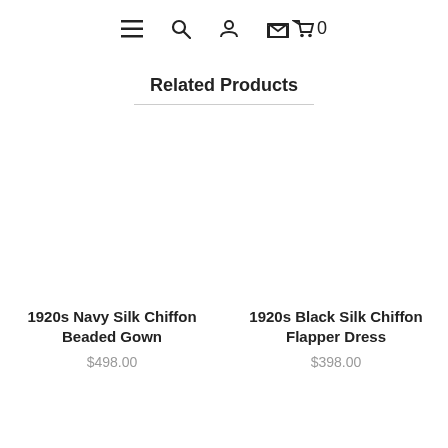≡  🔍  👤  🛒 0
Related Products
[Figure (other): White/blank product image area for 1920s Navy Silk Chiffon Beaded Gown]
1920s Navy Silk Chiffon Beaded Gown
$498.00
[Figure (other): White/blank product image area for 1920s Black Silk Chiffon Flapper Dress]
1920s Black Silk Chiffon Flapper Dress
$398.00